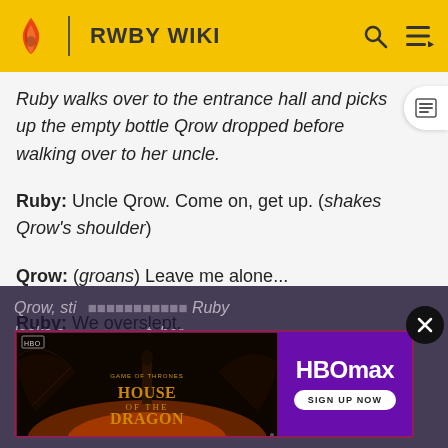RWBY WIKI
Ruby walks over to the entrance hall and picks up the empty bottle Qrow dropped before walking over to her uncle.
Ruby: Uncle Qrow. Come on, get up. (shakes Qrow's shoulder)
Qrow: (groans) Leave me alone...
Ruby: We overslept.
Qrow, still... and dict... Ruby looks a... t, her hand st... ne wall, sh...
[Figure (screenshot): HBO Max advertisement banner for House of the Dragon showing dark fantasy imagery with dragons and the HBO Max logo with a Sign Up Now button]